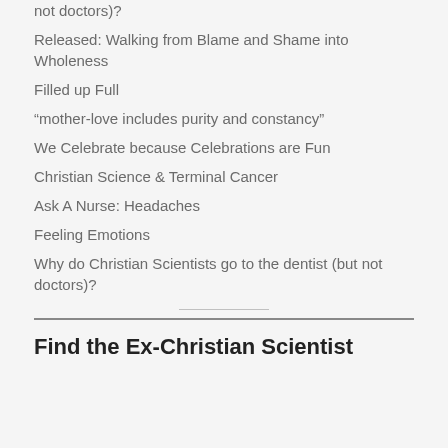not doctors)?
Released: Walking from Blame and Shame into Wholeness
Filled up Full
“mother-love includes purity and constancy”
We Celebrate because Celebrations are Fun
Christian Science & Terminal Cancer
Ask A Nurse: Headaches
Feeling Emotions
Why do Christian Scientists go to the dentist (but not doctors)?
Find the Ex-Christian Scientist